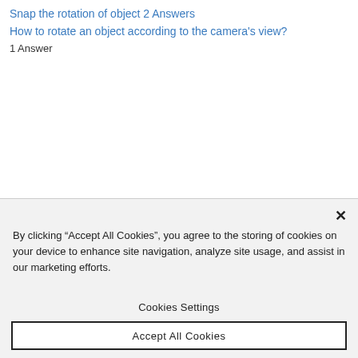Snap the rotation of object 2 Answers
How to rotate an object according to the camera's view? 1 Answer
By clicking “Accept All Cookies”, you agree to the storing of cookies on your device to enhance site navigation, analyze site usage, and assist in our marketing efforts.
Cookies Settings
Accept All Cookies